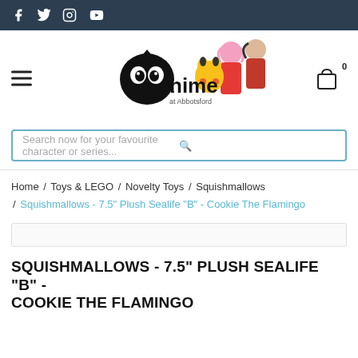Social media icons: Facebook, Twitter, Instagram, YouTube
[Figure (logo): Anime at Abbotsford store logo with anime character figures (Pikachu, pink-haired girl, dark-haired girl with instrument) on the right side]
Search now for your favourite character or series...
Home / Toys & LEGO / Novelty Toys / Squishmallows / Squishmallows - 7.5" Plush Sealife "B" - Cookie The Flamingo
[Figure (other): Empty image placeholder bar]
SQUISHMALLOWS - 7.5" PLUSH SEALIFE "B" - COOKIE THE FLAMINGO